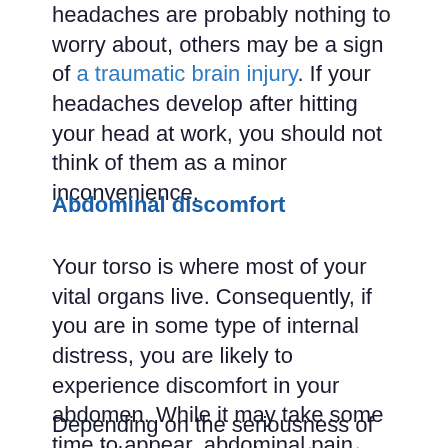headaches are probably nothing to worry about, others may be a sign of a traumatic brain injury. If your headaches develop after hitting your head at work, you should not think of them as a minor inconvenience.
Abdominal discomfort
Your torso is where most of your vital organs live. Consequently, if you are in some type of internal distress, you are likely to experience discomfort in your abdomen. While it may take some time to appear, abdominal pain after a workplace accident is a medical emergency.
Depending on the seriousness of your injury, you may have to act quickly to prevent